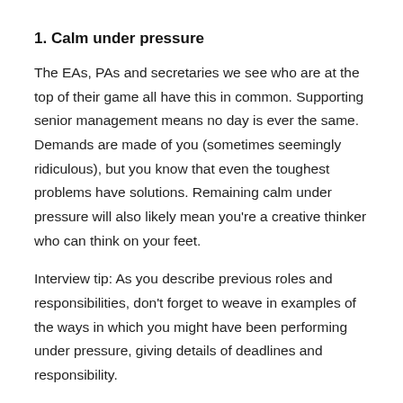1. Calm under pressure
The EAs, PAs and secretaries we see who are at the top of their game all have this in common. Supporting senior management means no day is ever the same. Demands are made of you (sometimes seemingly ridiculous), but you know that even the toughest problems have solutions. Remaining calm under pressure will also likely mean you're a creative thinker who can think on your feet.
Interview tip: As you describe previous roles and responsibilities, don't forget to weave in examples of the ways in which you might have been performing under pressure, giving details of deadlines and responsibility.
2. Multi-tasker